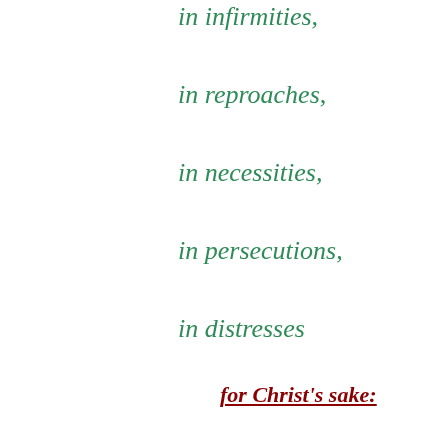in infirmities,
in reproaches,
in necessities,
in persecutions,
in distresses
for Christ's sake:
for when I am weak,
then am I strong." 2 Corinthians